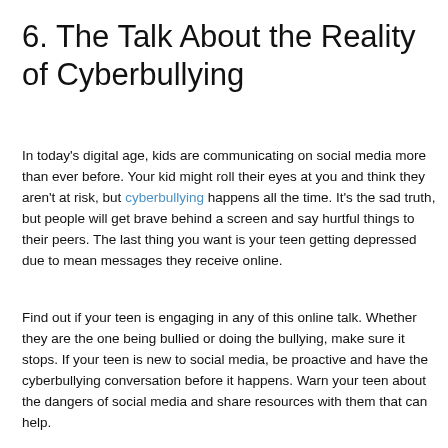6. The Talk About the Reality of Cyberbullying
In today's digital age, kids are communicating on social media more than ever before. Your kid might roll their eyes at you and think they aren't at risk, but cyberbullying happens all the time. It's the sad truth, but people will get brave behind a screen and say hurtful things to their peers. The last thing you want is your teen getting depressed due to mean messages they receive online.
Find out if your teen is engaging in any of this online talk. Whether they are the one being bullied or doing the bullying, make sure it stops. If your teen is new to social media, be proactive and have the cyberbullying conversation before it happens. Warn your teen about the dangers of social media and share resources with them that can help.